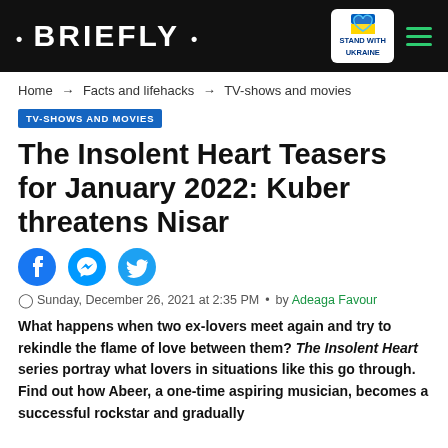• BRIEFLY •
Home → Facts and lifehacks → TV-shows and movies
TV-SHOWS AND MOVIES
The Insolent Heart Teasers for January 2022: Kuber threatens Nisar
Sunday, December 26, 2021 at 2:35 PM • by Adeaga Favour
What happens when two ex-lovers meet again and try to rekindle the flame of love between them? The Insolent Heart series portray what lovers in situations like this go through. Find out how Abeer, a one-time aspiring musician, becomes a successful rockstar and gradually